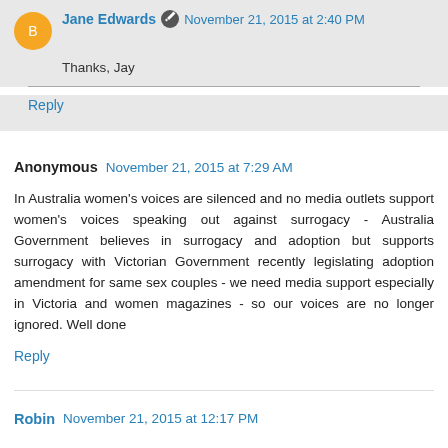Jane Edwards — November 21, 2015 at 2:40 PM
Thanks, Jay
Reply
Anonymous — November 21, 2015 at 7:29 AM
In Australia women's voices are silenced and no media outlets support women's voices speaking out against surrogacy - Australia Government believes in surrogacy and adoption but supports surrogacy with Victorian Government recently legislating adoption amendment for same sex couples - we need media support especially in Victoria and women magazines - so our voices are no longer ignored. Well done
Reply
Robin — November 21, 2015 at 12:17 PM